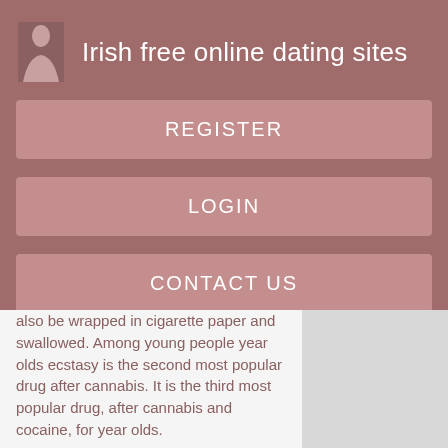Irish free online dating sites
REGISTER
LOGIN
CONTACT US
also be wrapped in cigarette paper and swallowed. Among young people year olds ecstasy is the second most popular drug after cannabis. It is the third most popular drug, after cannabis and cocaine, for year olds.
Generally, the proportion of 16 to 59 year olds using ecstasy in the